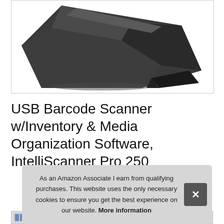[Figure (photo): Close-up product photo of a dark grey/black USB barcode scanner device on white background, shown from above at an angle]
USB Barcode Scanner w/Inventory & Media Organization Software, IntelliScanner Pro 250
As an Amazon Associate I earn from qualifying purchases. This website uses the only necessary cookies to ensure you get the best experience on our website. More information